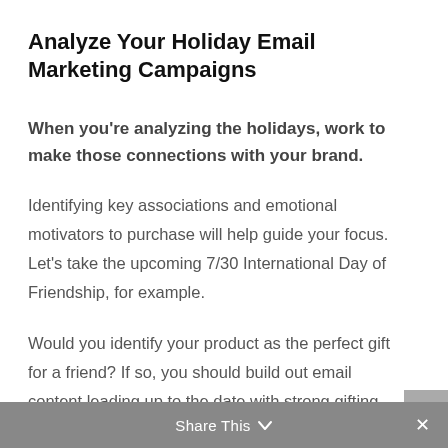Analyze Your Holiday Email Marketing Campaigns
When you're analyzing the holidays, work to make those connections with your brand.
Identifying key associations and emotional motivators to purchase will help guide your focus. Let's take the upcoming 7/30 International Day of Friendship, for example.
Would you identify your product as the perfect gift for a friend? If so, you should build out email content leading up to the date with strong gifting focused language around gifting to your best friends.
Share This ∨  ×